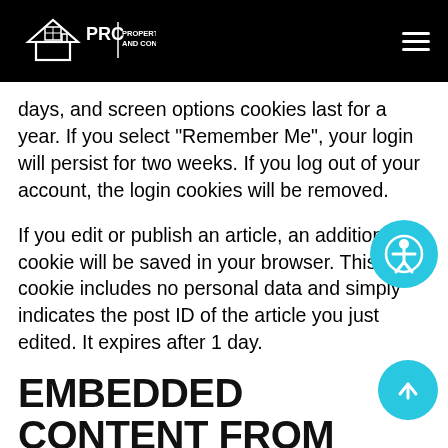[Figure (logo): PRC Property Renovations and Construction LLC logo with house/roof icon, white on black background]
days, and screen options cookies last for a year. If you select “Remember Me”, your login will persist for two weeks. If you log out of your account, the login cookies will be removed.
If you edit or publish an article, an additional cookie will be saved in your browser. This cookie includes no personal data and simply indicates the post ID of the article you just edited. It expires after 1 day.
EMBEDDED CONTENT FROM